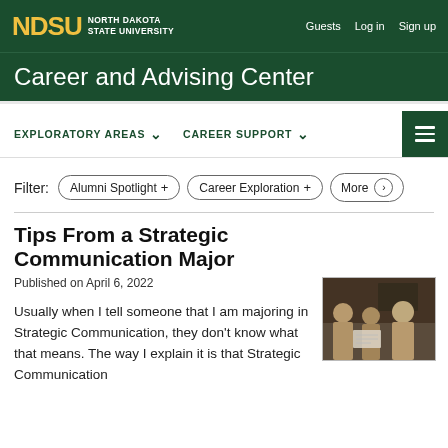NDSU NORTH DAKOTA STATE UNIVERSITY | Guests  Log in  Sign up
Career and Advising Center
EXPLORATORY AREAS   CAREER SUPPORT
Filter: Alumni Spotlight +  Career Exploration +  More
Tips From a Strategic Communication Major
Published on April 6, 2022
Usually when I tell someone that I am majoring in Strategic Communication, they don't know what that means. The way I explain it is that Strategic Communication
[Figure (photo): Photo of three women looking at documents together in a professional setting]